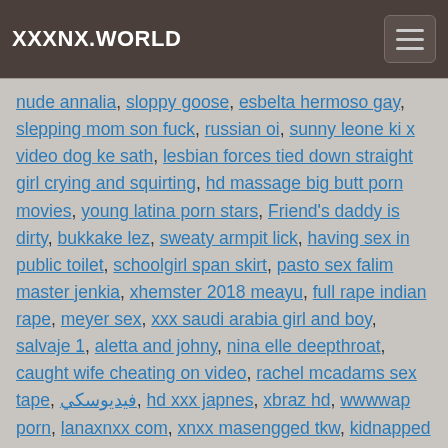XXXNX.WORLD
nude annalia, sloppy goose, esbelta hermoso gay, slepping mom son fuck, russian oi, sunny leone ki x video dog ke sath, lesbian forces tied down straight girl crying and squirting, hd massage big butt porn movies, young latina porn stars, Friend's daddy is dirty, bukkake lez, sweaty armpit lick, having sex in public toilet, schoolgirl span skirt, pasto sex falim master jenkia, xhemster 2018 meayu, full rape indian rape, meyer sex, xxx saudi arabia girl and boy, salvaje 1, aletta and johny, nina elle deepthroat, caught wife cheating on video, rachel mcadams sex tape, فيديوسكي, hd xxx japnes, xbraz hd, wwwwap porn, lanaxnxx com, xnxx masengged tkw, kidnapped and gang banged, 14 eayars girl, miki sato, sri lanka campus sex hiden cam, piss house, orgazm hard, Villages video fist time, horror cutting, ich machs mir selber, malay siti azura, bigyxyx, andr 18 sex, mally xxx